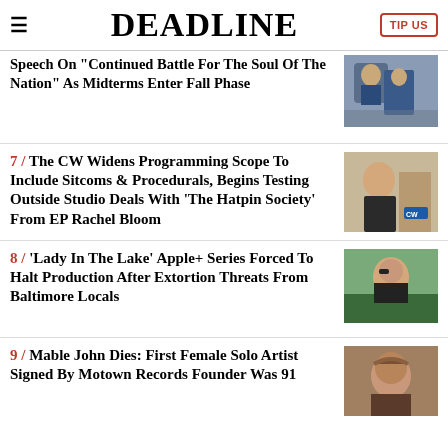DEADLINE
Biden To Deliver Primetime Speech On "Continued Battle For The Soul Of The Nation" As Midterms Enter Fall Phase
7 / The CW Widens Programming Scope To Include Sitcoms & Procedurals, Begins Testing Outside Studio Deals With 'The Hatpin Society' From EP Rachel Bloom
8 / 'Lady In The Lake' Apple+ Series Forced To Halt Production After Extortion Threats From Baltimore Locals
9 / Mable John Dies: First Female Solo Artist Signed By Motown Records Founder Was 91